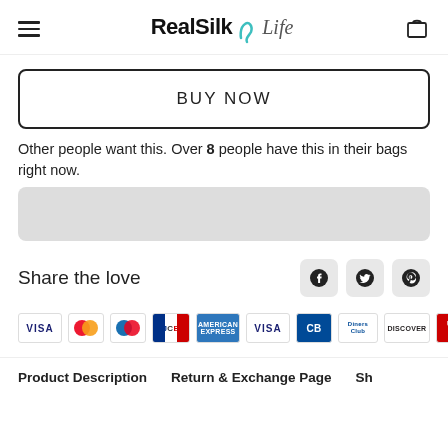RealSilk Life
BUY NOW
Other people want this. Over 8 people have this in their bags right now.
[Figure (other): Gray progress bar placeholder]
Share the love
[Figure (other): Social sharing icons: Facebook, Twitter, Pinterest]
[Figure (other): Payment method icons: VISA, Mastercard, Mastercard (blue/red), JCB, American Express, VISA (debit), CB, Diners Club, Discover, UnionPay, PayPal]
Product Description   Return & Exchange Page   Sh